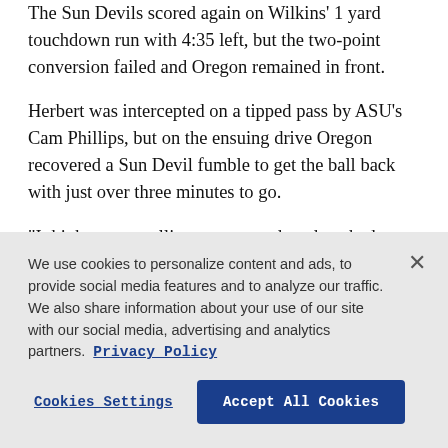The Sun Devils scored again on Wilkins' 1 yard touchdown run with 4:35 left, but the two-point conversion failed and Oregon remained in front.
Herbert was intercepted on a tipped pass by ASU's Cam Phillips, but on the ensuing drive Oregon recovered a Sun Devil fumble to get the ball back with just over three minutes to go.
“I think we got rolling pretty good, and we had a couple a couple of times when we didn’t get the ball rolling and I think we started pressing, I think you
We use cookies to personalize content and ads, to provide social media features and to analyze our traffic. We also share information about your use of our site with our social media, advertising and analytics partners. Privacy Policy
Cookies Settings | Accept All Cookies